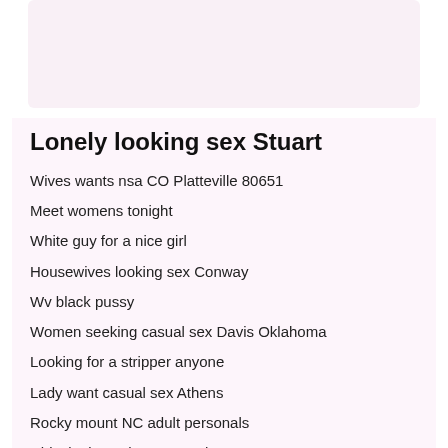[Figure (other): Light pink/purple banner area at top of page]
Lonely looking sex Stuart
Wives wants nsa CO Platteville 80651
Meet womens tonight
White guy for a nice girl
Housewives looking sex Conway
Wv black pussy
Women seeking casual sex Davis Oklahoma
Looking for a stripper anyone
Lady want casual sex Athens
Rocky mount NC adult personals
Chivalry is not horny sex chat